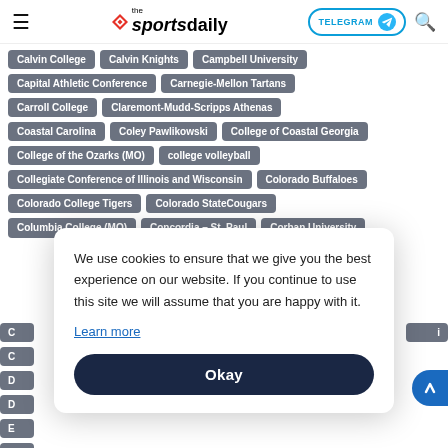the sportsdaily — TELEGRAM — search
Calvin College
Calvin Knights
Campbell University
Capital Athletic Conference
Carnegie-Mellon Tartans
Carroll College
Claremont-Mudd-Scripps Athenas
Coastal Carolina
Coley Pawlikowski
College of Coastal Georgia
College of the Ozarks (MO)
college volleyball
Collegiate Conference of Illinois and Wisconsin
Colorado Buffaloes
Colorado College Tigers
Colorado StateCougars
We use cookies to ensure that we give you the best experience on our website. If you continue to use this site we will assume that you are happy with it.
Learn more
Okay